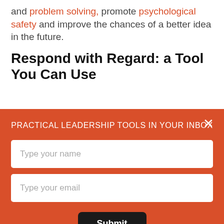and problem solving, promote psychological safety and improve the chances of a better idea in the future.
Respond with Regard: a Tool You Can Use
PRACTICAL LEADERSHIP TOOLS IN YOUR INBOX
Type your name
Type your email
Submit